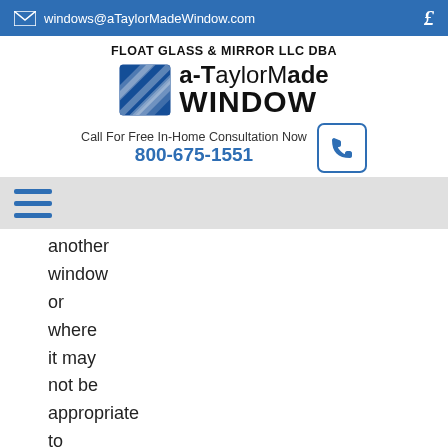windows@aTaylorMadeWindow.com
[Figure (logo): a-TaylorMade Window logo with blue diamond graphic and company name]
FLOAT GLASS & MIRROR LLC DBA
Call For Free In-Home Consultation Now 800-675-1551
another window or where it may not be appropriate to have a large window, like a